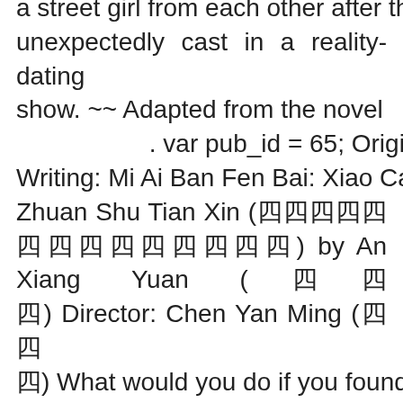a street girl from each other after they are unexpectedly cast in a reality-dating show. ~~ Adapted from the novel . var pub_id = 65; Original Writing: Mi Ai Ban Fen Bai: Xiao Cao De Zhuan Shu Tian Xin (囧囧囧囧囧囧囧囧囧囧囧囧囧囧) by An Xiang Yuan (囧囧囧) Director: Chen Yan Ming (囧囧囧) What would you do if you found out that you were, in fact, a character in a comic? var player_height = 360; ~~ Adapted from the novel                         The wedding is then crashed by Leezar, who reveals himself to be the one who placed Belladonna in the tower. Because of an accidental meeting, the two start a